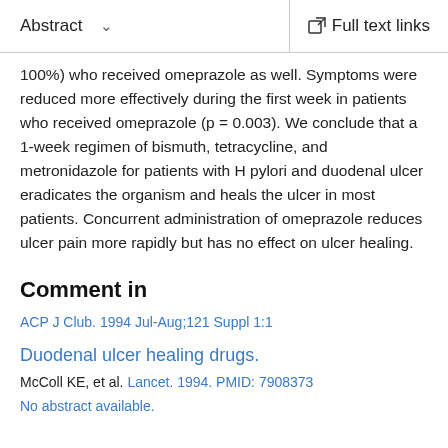Abstract   Full text links
100%) who received omeprazole as well. Symptoms were reduced more effectively during the first week in patients who received omeprazole (p = 0.003). We conclude that a 1-week regimen of bismuth, tetracycline, and metronidazole for patients with H pylori and duodenal ulcer eradicates the organism and heals the ulcer in most patients. Concurrent administration of omeprazole reduces ulcer pain more rapidly but has no effect on ulcer healing.
Comment in
ACP J Club. 1994 Jul-Aug;121 Suppl 1:1
Duodenal ulcer healing drugs.
McColl KE, et al. Lancet. 1994. PMID: 7908373
No abstract available.